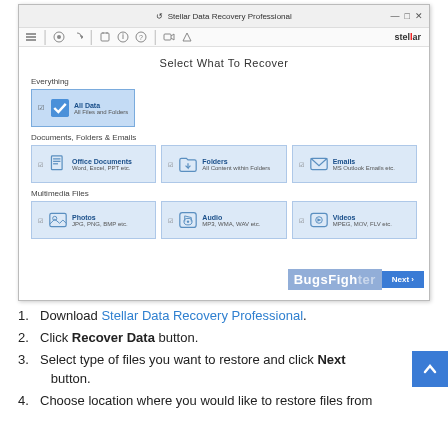[Figure (screenshot): Stellar Data Recovery Professional application window showing 'Select What To Recover' screen with options: Everything (All Data - All Files and Folders), Documents Folders & Emails (Office Documents, Folders, Emails), Multimedia Files (Photos, Audio, Videos). A BugsFighter watermark and Next button visible at bottom right.]
1. Download Stellar Data Recovery Professional.
2. Click Recover Data button.
3. Select type of files you want to restore and click Next button.
4. Choose location where you would like to restore files from